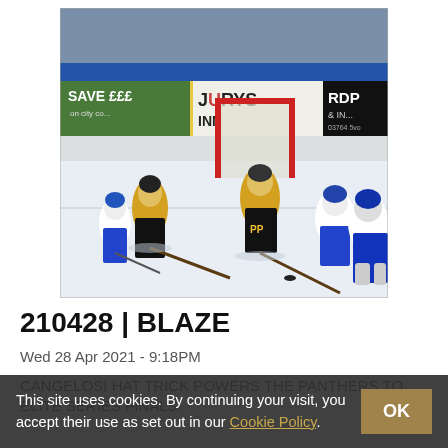[Figure (photo): Ice hockey game photo showing players in yellow/black uniforms and white/blue uniforms near a goal, with rink boards advertising 'SAVE £££', 'JURYS INN', and 'RDP & IN' visible in the background.]
210428 | BLAZE
Wed 28 Apr 2021 - 9:18PM
CANGELOSI HAT TRICK POWERS THE PANTHERS TO ELITE SERIES FINALS!
This site uses cookies. By continuing your visit, you accept their use as set out in our Cookie Policy.